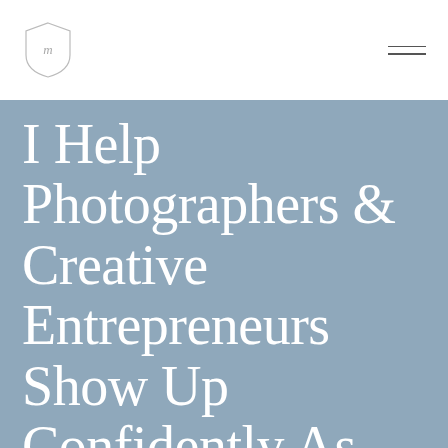I Help Photographers & Creative Entrepreneurs Show Up Confidently As CEO Behind Their Business